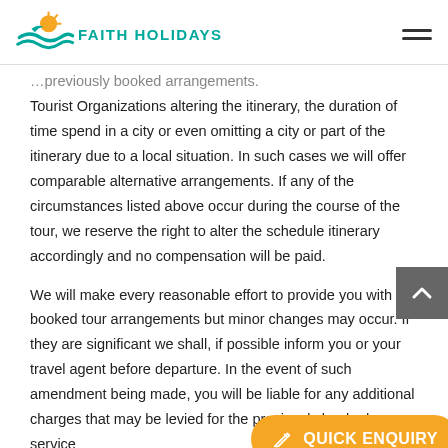FAITH HOLIDAYS
Tourist Organizations altering the itinerary, the duration of time spend in a city or even omitting a city or part of the itinerary due to a local situation. In such cases we will offer comparable alternative arrangements. If any of the circumstances listed above occur during the course of the tour, we reserve the right to alter the schedule itinerary accordingly and no compensation will be paid.
We will make every reasonable effort to provide you with the booked tour arrangements but minor changes may occur. If they are significant we shall, if possible inform you or your travel agent before departure. In the event of such amendment being made, you will be liable for any additional charges that may be levied for the previously booked service